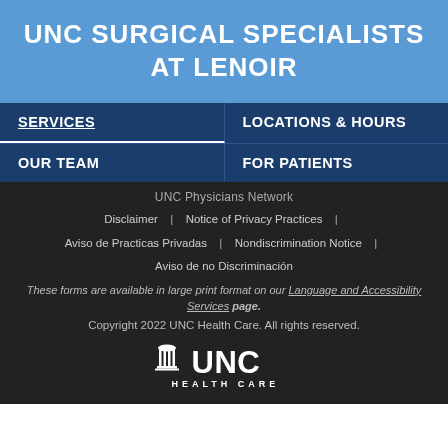UNC SURGICAL SPECIALISTS AT LENOIR
SERVICES
LOCATIONS & HOURS
OUR TEAM
FOR PATIENTS
UNC Physicians Network
Disclaimer | Notice of Privacy Practices |
Aviso de Practicas Privadas | Nondiscrimination Notice |
Aviso de no Discriminación
These forms are available in large print format on our Language and Accessibility Services page.
Copyright 2022 UNC Health Care. All rights reserved.
[Figure (logo): UNC Health Care logo with building icon]